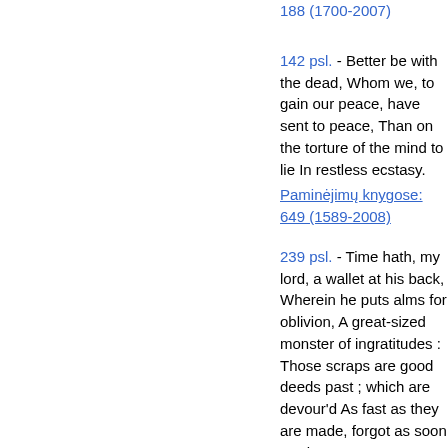188 (1700-2007) Paminėjimų knygose: (truncated at top)
142 psl. - Better be with the dead, Whom we, to gain our peace, have sent to peace, Than on the torture of the mind to lie In restless ecstasy. Paminėjimų knygose: 649 (1589-2008)
239 psl. - Time hath, my lord, a wallet at his back, Wherein he puts alms for oblivion, A great-sized monster of ingratitudes : Those scraps are good deeds past ; which are devour'd As fast as they are made, forgot as soon As done... Paminėjimų knygose: 507 (1709-2007)